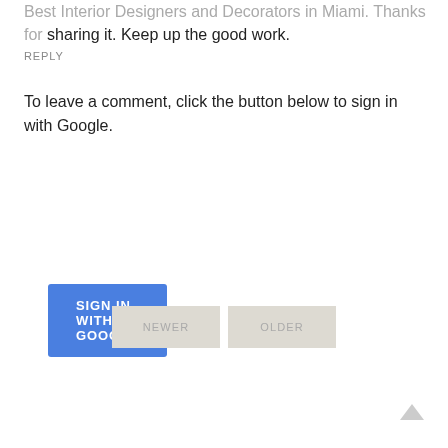Best Interior Designers and Decorators in Miami. Thanks for sharing it. Keep up the good work.
REPLY
To leave a comment, click the button below to sign in with Google.
[Figure (other): Blue 'SIGN IN WITH GOOGLE' button]
[Figure (other): Navigation buttons: NEWER and OLDER]
[Figure (other): Scroll to top arrow icon]